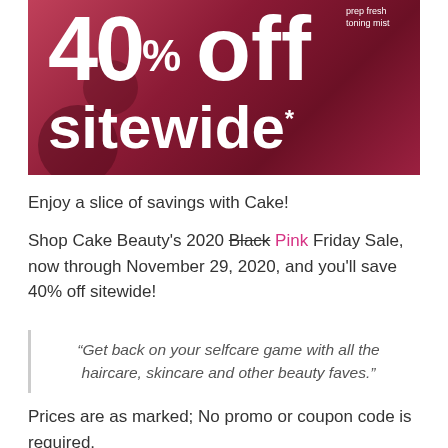[Figure (photo): Dark red/pink promotional banner showing beauty products (toning mist, skincare) with large white bold text reading '40% off sitewide*']
Enjoy a slice of savings with Cake!
Shop Cake Beauty's 2020 Black Pink Friday Sale, now through November 29, 2020, and you'll save 40% off sitewide!
“Get back on your selfcare game with all the haircare, skincare and other beauty faves.”
Prices are as marked; No promo or coupon code is required.